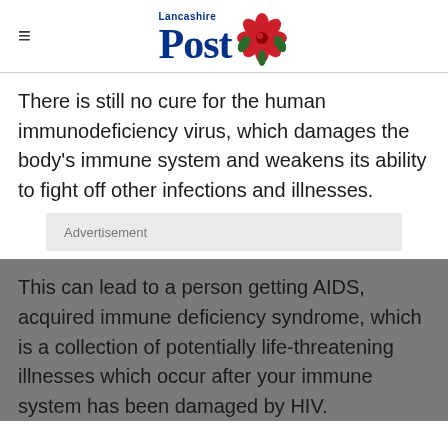Lancashire Post
There is still no cure for the human immunodeficiency virus, which damages the body's immune system and weakens its ability to fight off other infections and illnesses.
Advertisement
This can lead to a person getting AIDS, acquired immune deficiency syndrome, which is a collection of potentially life-threatening illnesses which occur after your immune system has been damaged by HIV.